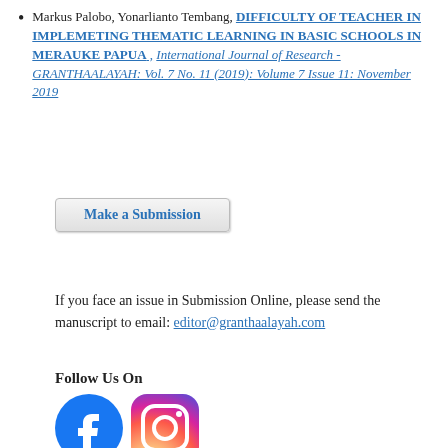Markus Palobo, Yonarlianto Tembang, DIFFICULTY OF TEACHER IN IMPLEMETING THEMATIC LEARNING IN BASIC SCHOOLS IN MERAUKE PAPUA , International Journal of Research -GRANTHAALAYAH: Vol. 7 No. 11 (2019): Volume 7 Issue 11: November 2019
Make a Submission
If you face an issue in Submission Online, please send the manuscript to email: editor@granthaalayah.com
Follow Us On
[Figure (logo): Facebook and Instagram social media icons]